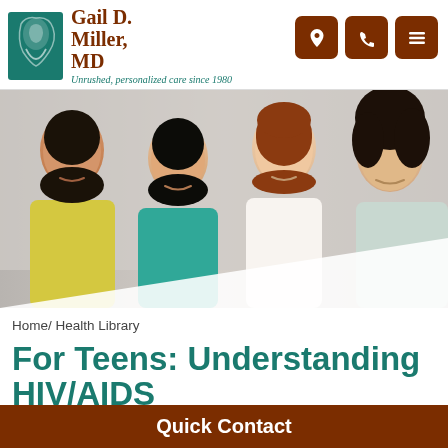[Figure (logo): Gail D. Miller MD logo with teal icon and brown text]
Unrushed, personalized care since 1980
[Figure (photo): Four smiling women of diverse backgrounds posing together]
Home/ Health Library
For Teens: Understanding HIV/AIDS
Quick Contact